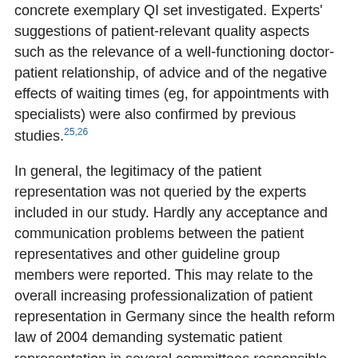concrete exemplary QI set investigated. Experts' suggestions of patient-relevant quality aspects such as the relevance of a well-functioning doctor-patient relationship, of advice and of the negative effects of waiting times (eg, for appointments with specialists) were also confirmed by previous studies.25,26
In general, the legitimacy of the patient representation was not queried by the experts included in our study. Hardly any acceptance and communication problems between the patient representatives and other guideline group members were reported. This may relate to the overall increasing professionalization of patient representation in Germany since the health reform law of 2004 demanding systematic patient representation in several committees responsible for political decisions and expertise in the health insurance system on the federal and state level.27,28 The main problems of patient representation perceived by the experts were a lack of: medical and/or methodological competence of the patient representatives, systematic collection of knowledge and experiences within patient groups, transfer of such knowledge to patient representatives, patient groups for rare diseases, and a low level of awareness of the existence and